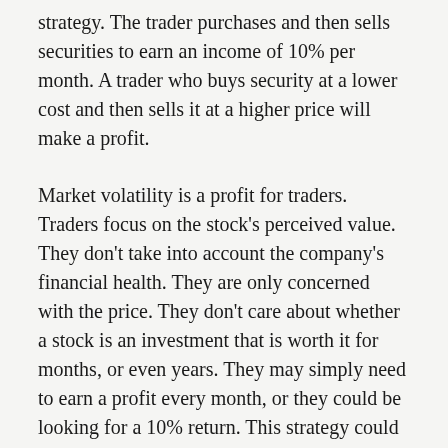strategy. The trader purchases and then sells securities to earn an income of 10% per month. A trader who buys security at a lower cost and then sells it at a higher price will make a profit.
Market volatility is a profit for traders. Traders focus on the stock's perceived value. They don't take into account the company's financial health. They are only concerned with the price. They don't care about whether a stock is an investment that is worth it for months, or even years. They may simply need to earn a profit every month, or they could be looking for a 10% return. This strategy could be profitable in various ways.
Traders are often eager to make a high income each month. While it is possible to earn millions of dollars over a short period of time, trading involves frequent transactions. Some of the traders...